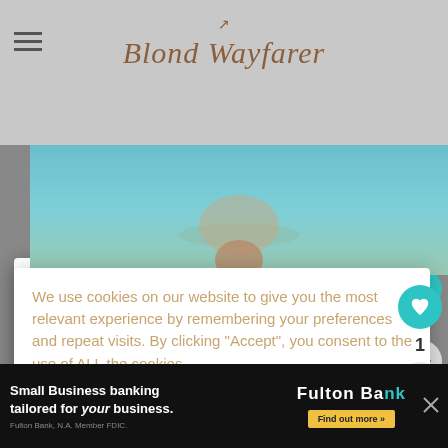Blond Wayfarer
[Figure (photo): Teal lake water with person partially visible, top portion]
We use cookies on our website to give you the most relevant experience by remembering your preferences and repeat visits. By clicking "Accept", you consent to the use of ALL the cookies.
Do not sell my personal information.
Settings
Accept
[Figure (photo): Mountain valley with forest and glacier, scenic landscape]
WHAT'S NEXT → 9 Best Things to Do in...
Small Business banking tailored for your business. Fulton Bank Find out more »